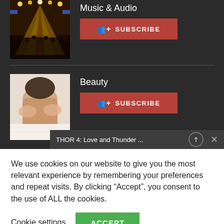[Figure (photo): Concert photo with colorful stage lights and crowd, used as thumbnail for Music & Audio category]
Music & Audio
SUBSCRIBE
[Figure (photo): Person receiving a back massage or beauty treatment, used as thumbnail for Beauty category]
Beauty
SUBSCRIBE
THOR 4: Love and Thunder ...
We use cookies on our website to give you the most relevant experience by remembering your preferences and repeat visits. By clicking “Accept”, you consent to the use of ALL the cookies.
Cookie settings
ACCEPT